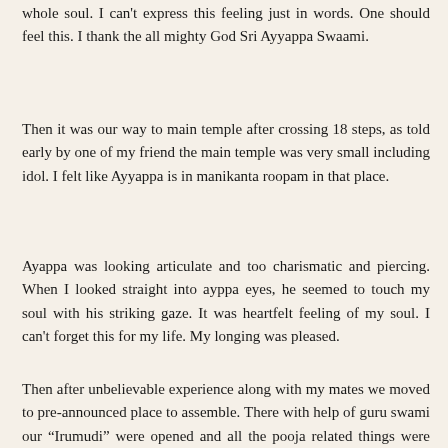whole soul. I can't express this feeling just in words. One should feel this. I thank the all mighty God Sri Ayyappa Swaami.
Then it was our way to main temple after crossing 18 steps, as told early by one of my friend the main temple was very small including idol. I felt like Ayyappa is in manikanta roopam in that place.
Ayappa was looking articulate and too charismatic and piercing. When I looked straight into ayppa eyes, he seemed to touch my soul with his striking gaze. It was heartfelt feeling of my soul. I can't forget this for my life. My longing was pleased.
Then after unbelievable experience along with my mates we moved to pre-announced place to assemble. There with help of guru swami our “Irumudi” were opened and all the pooja related things were collected separately and grouped. Once all this process is done each one of us given one like Ghee collected from the filled